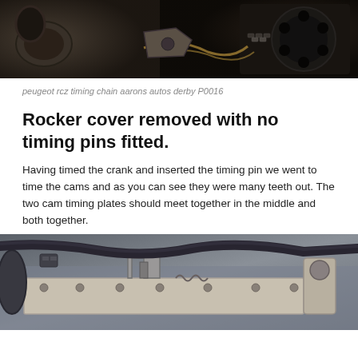[Figure (photo): Close-up photo of a timing chain and gear/sprocket on a Peugeot RCZ engine, showing dark mechanical components with chain links visible]
peugeot rcz timing chain aarons autos derby P0016
Rocker cover removed with no timing pins fitted.
Having timed the crank and inserted the timing pin we went to time the cams and as you can see they were many teeth out. The two cam timing plates should meet together in the middle and both together.
[Figure (photo): Close-up photo of a car engine with rocker cover removed, showing camshaft area with various hoses, connectors, and metal components visible]